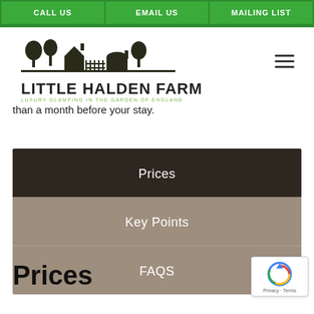CALL US | EMAIL US | MAILING LIST
[Figure (logo): Little Halden Farm logo with farm silhouette illustration and tagline 'LUXURY GLAMPING IN THE GARDEN OF ENGLAND']
than a month before your stay.
Prices
Key Points
FAQS
Prices